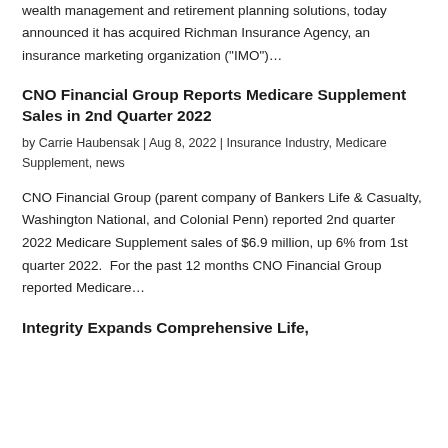wealth management and retirement planning solutions, today announced it has acquired Richman Insurance Agency, an insurance marketing organization ("IMO")…
CNO Financial Group Reports Medicare Supplement Sales in 2nd Quarter 2022
by Carrie Haubensak | Aug 8, 2022 | Insurance Industry, Medicare Supplement, news
CNO Financial Group (parent company of Bankers Life & Casualty, Washington National, and Colonial Penn) reported 2nd quarter 2022 Medicare Supplement sales of $6.9 million, up 6% from 1st quarter 2022.  For the past 12 months CNO Financial Group reported Medicare…
Integrity Expands Comprehensive Life,